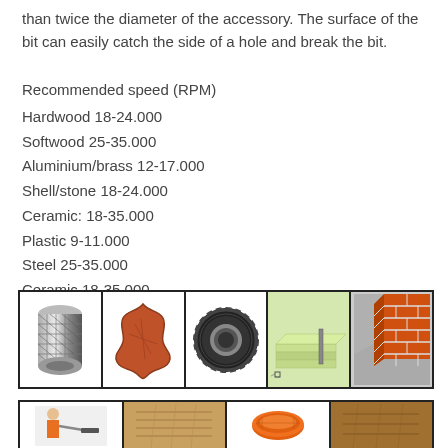than twice the diameter of the accessory. The surface of the bit can easily catch the side of a hole and break the bit.
Recommended speed (RPM)
Hardwood 18-24.000
Softwood 25-35.000
Aluminium/brass 12-17.000
Shell/stone 18-24.000
Ceramic: 18-35.000
Plastic 9-11.000
Steel 25-35.000
Ceramic 18-35.000
[Figure (illustration): Row of 5 material/application icons: carbon fiber tube, leather star shape, rubber tire, layered sheet material with tool, brick wall corner]
[Figure (illustration): Row of 4 application icons partially visible at bottom: person drilling, wooden board, orange disc/material, brown wood]